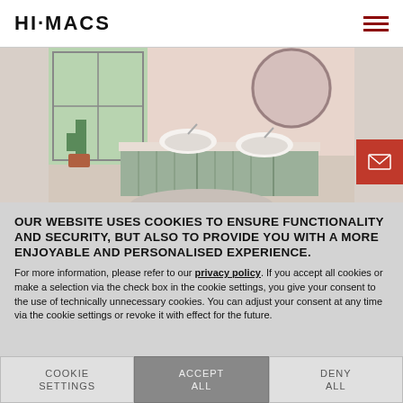HI·MACS
[Figure (photo): Bathroom vanity with two round white basins on a light green cabinet, cactus plant, round mirror, pink walls, viewed from above]
OUR WEBSITE USES COOKIES TO ENSURE FUNCTIONALITY AND SECURITY, BUT ALSO TO PROVIDE YOU WITH A MORE ENJOYABLE AND PERSONALISED EXPERIENCE. For more information, please refer to our privacy policy. If you accept all cookies or make a selection via the check box in the cookie settings, you give your consent to the use of technically unnecessary cookies. You can adjust your consent at any time via the cookie settings or revoke it with effect for the future.
COOKIE SETTINGS
ACCEPT ALL
DENY ALL